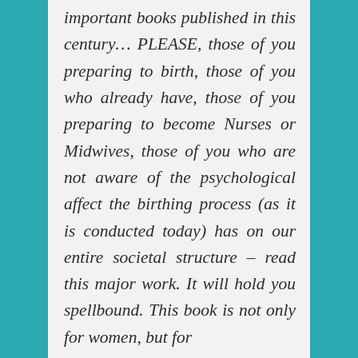important books published in this century… PLEASE, those of you preparing to birth, those of you who already have, those of you preparing to become Nurses or Midwives, those of you who are not aware of the psychological affect the birthing process (as it is conducted today) has on our entire societal structure – read this major work. It will hold you spellbound. This book is not only for women, but for